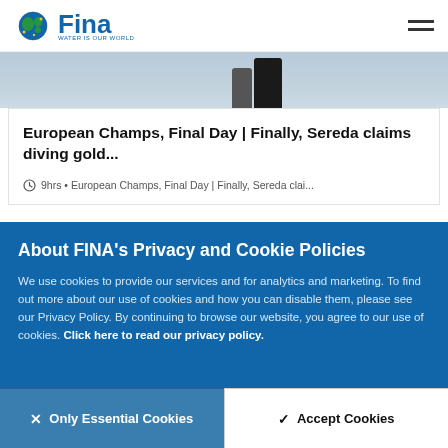FINA — WATER IS OUR WORLD
[Figure (photo): Partial view of swimmers or divers, showing legs and torso in dark swimwear against a light background]
European Champs, Final Day | Finally, Sereda claims diving gold...
9hrs • European Champs, Final Day | Finally, Sereda clai...
About FINA's Privacy and Cookie Policies
We use cookies to provide our services and for analytics and marketing. To find out more about our use of cookies and how you can disable them, please see our Privacy Policy. By continuing to browse our website, you agree to our use of cookies. Click here to read our privacy policy.
× Only Essential Cookies
✓ Accept Cookies